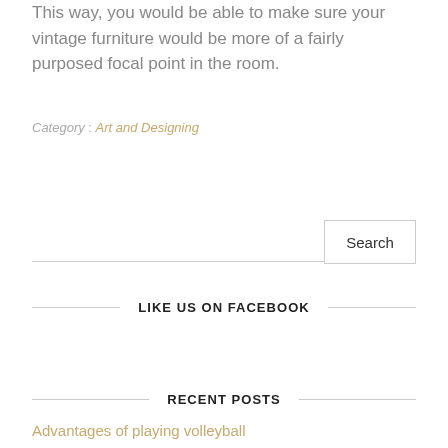This way, you would be able to make sure your vintage furniture would be more of a fairly purposed focal point in the room.
Category : Art and Designing
Search
LIKE US ON FACEBOOK
RECENT POSTS
Advantages of playing volleyball